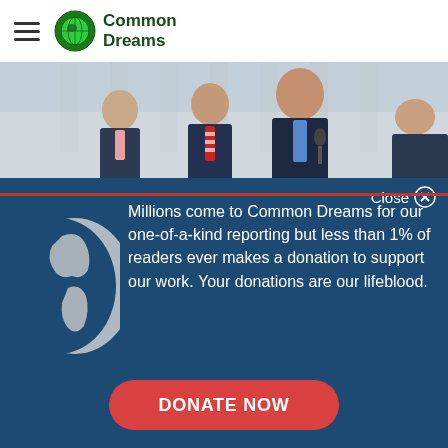Common Dreams
[Figure (photo): Group of men in suits speaking at a podium outdoors in front of columns, likely at the US Supreme Court]
Close ✕
[Figure (logo): Common Dreams globe logo illustration on dark blue background]
Millions come to Common Dreams for our one-of-a-kind reporting but less than 1% of readers ever makes a donation to support our work. Your donations are our lifeblood.
DONATE NOW